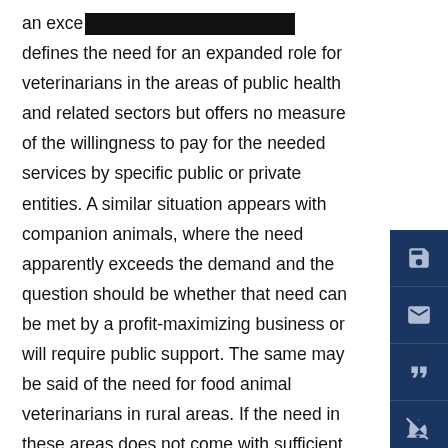an exce[REDACTED] defines the need for an expanded role for veterinarians in the areas of public health and related sectors but offers no measure of the willingness to pay for the needed services by specific public or private entities. A similar situation appears with companion animals, where the need apparently exceeds the demand and the question should be whether that need can be met by a profit-maximizing business or will require public support. The same may be said of the need for food animal veterinarians in rural areas. If the need in these areas does not come with sufficient expenditures on services to operate a profitable veterinary practice, then any incentive, short of a publicly supported salary, may be unsustainable.